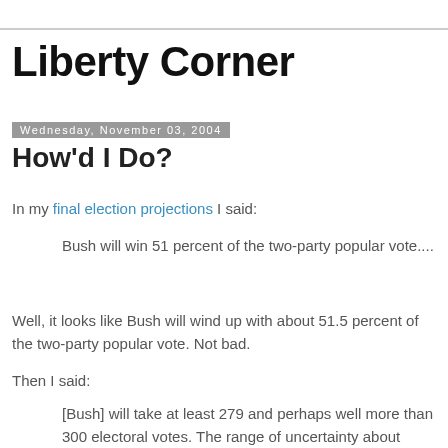Liberty Corner
Wednesday, November 03, 2004
How'd I Do?
In my final election projections I said:
Bush will win 51 percent of the two-party popular vote....
Well, it looks like Bush will wind up with about 51.5 percent of the two-party popular vote. Not bad.
Then I said:
[Bush] will take at least 279 and perhaps well more than 300 electoral votes. The range of uncertainty about electoral votes (EVs) reflects the apparent closeness of the race in many